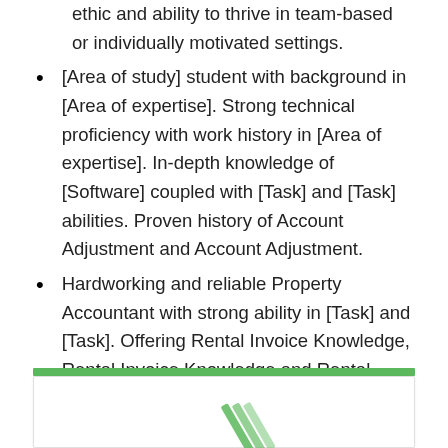ethic and ability to thrive in team-based or individually motivated settings.
[Area of study] student with background in [Area of expertise]. Strong technical proficiency with work history in [Area of expertise]. In-depth knowledge of [Software] coupled with [Task] and [Task] abilities. Proven history of Account Adjustment and Account Adjustment.
Hardworking and reliable Property Accountant with strong ability in [Task] and [Task]. Offering Rental Invoice Knowledge, Rental Invoice Knowledge and Rental Invoice Knowledge. Highly organized, proactive and punctual with team-oriented mentality.
[Figure (other): Document section with green header bar and white content box containing a partially visible logo/illustration at the bottom of the page]